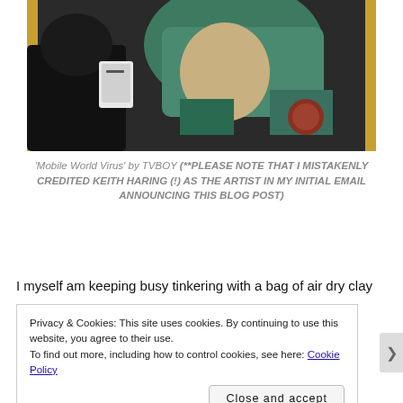[Figure (photo): Street art photograph showing a figure in a teal/green knitted outfit holding a smartphone, with a person photographing the artwork in the foreground silhouetted against golden frame borders]
'Mobile World Virus' by TVBOY (**PLEASE NOTE THAT I MISTAKENLY CREDITED KEITH HARING (!) AS THE ARTIST IN MY INITIAL EMAIL ANNOUNCING THIS BLOG POST)
I myself am keeping busy tinkering with a bag of air dry clay
Privacy & Cookies: This site uses cookies. By continuing to use this website, you agree to their use.
To find out more, including how to control cookies, see here: Cookie Policy